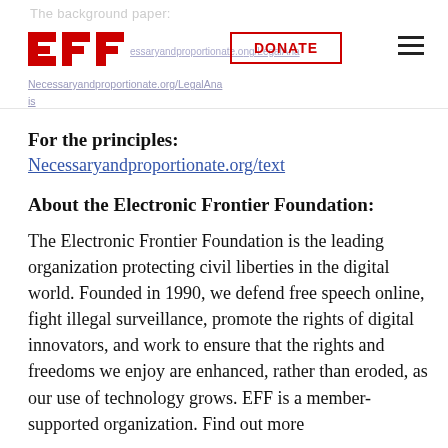The background paper: Necessaryandproportionate.org/LegalAnalysis
For the principles:
Necessaryandproportionate.org/text
About the Electronic Frontier Foundation:
The Electronic Frontier Foundation is the leading organization protecting civil liberties in the digital world. Founded in 1990, we defend free speech online, fight illegal surveillance, promote the rights of digital innovators, and work to ensure that the rights and freedoms we enjoy are enhanced, rather than eroded, as our use of technology grows. EFF is a member-supported organization. Find out more